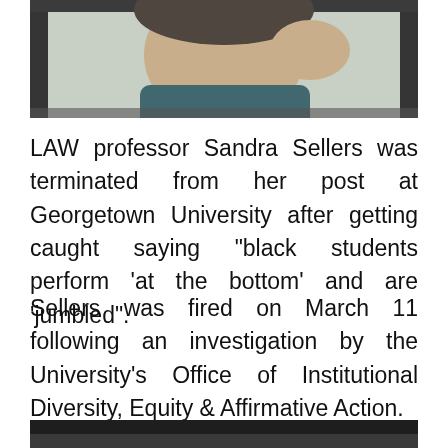[Figure (photo): Top portion of a person's face/upper body, partially cropped at the bottom, appears to be a screenshot or photo of a person]
LAW professor Sandra Sellers was terminated from her post at Georgetown University after getting caught saying "black students perform 'at the bottom' and are 'jumbled".
Sellers was fired on March 11 following an investigation by the University's Office of Institutional Diversity, Equity & Affirmative Action.
[Figure (screenshot): Bottom portion of the page showing a dark/black bar and partial image below]